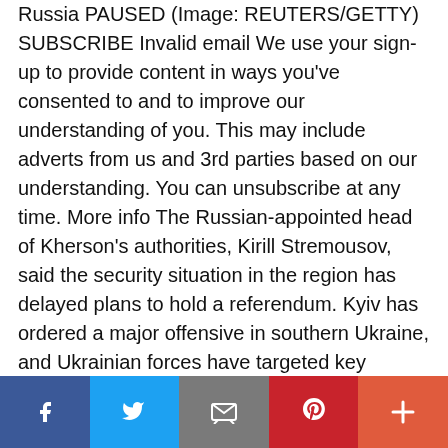Russia PAUSED (Image: REUTERS/GETTY) SUBSCRIBE Invalid email We use your sign-up to provide content in ways you've consented to and to improve our understanding of you. This may include adverts from us and 3rd parties based on our understanding. You can unsubscribe at any time. More info The Russian-appointed head of Kherson's authorities, Kirill Stremousov, said the security situation in the region has delayed plans to hold a referendum. Kyiv has ordered a major offensive in southern Ukraine, and Ukrainian forces have targeted key bridges in the region to prevent Russian reinforcements from arriving. Related articles Vladimir Putin left red-faced after dad joke
[Figure (other): Social media sharing bar with Facebook, Twitter, Email, Pinterest, and More buttons]